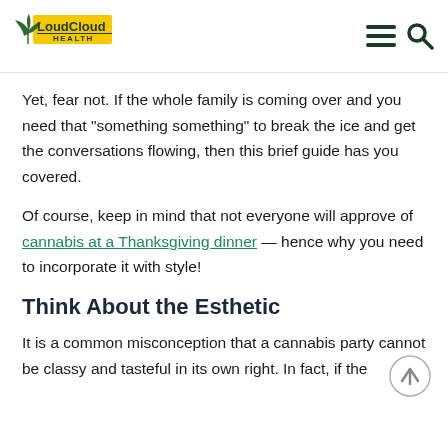LoudCloud Health
Yet, fear not. If the whole family is coming over and you need that "something something" to break the ice and get the conversations flowing, then this brief guide has you covered.
Of course, keep in mind that not everyone will approve of cannabis at a Thanksgiving dinner — hence why you need to incorporate it with style!
Think About the Esthetic
It is a common misconception that a cannabis party cannot be classy and tasteful in its own right. In fact, if the